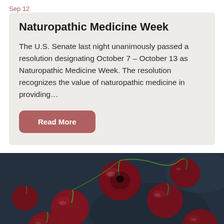Sep 12
Naturopathic Medicine Week
The U.S. Senate last night unanimously passed a resolution designating October 7 – October 13 as Naturopathic Medicine Week. The resolution recognizes the value of naturopathic medicine in providing…
Read More
[Figure (photo): Dark moody photograph of fresh dark red cherries scattered on a dark blue-grey surface, some with stems attached and one cut in half showing the pit.]